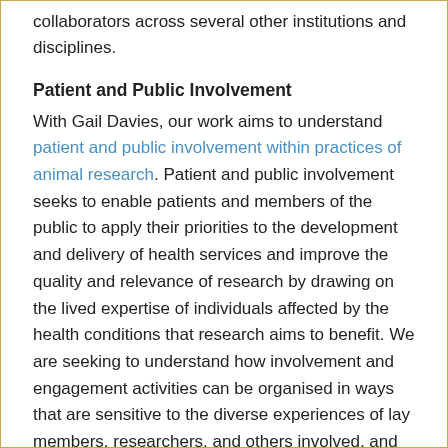collaborators across several other institutions and disciplines.
Patient and Public Involvement
With Gail Davies, our work aims to understand patient and public involvement within practices of animal research. Patient and public involvement seeks to enable patients and members of the public to apply their priorities to the development and delivery of health services and improve the quality and relevance of research by drawing on the lived expertise of individuals affected by the health conditions that research aims to benefit. We are seeking to understand how involvement and engagement activities can be organised in ways that are sensitive to the diverse experiences of lay members, researchers, and others involved, and open up authentic and meaningful conversations.
Care Farming
My ESRC-funded PhD research, at Cardiff University,